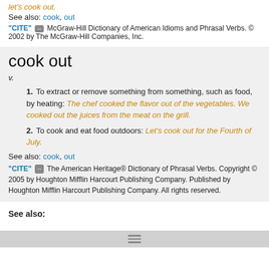let's cook out.
See also: cook, out
"CITE" [icon] McGraw-Hill Dictionary of American Idioms and Phrasal Verbs. © 2002 by The McGraw-Hill Companies, Inc.
cook out
v.
1. To extract or remove something from something, such as food, by heating: The chef cooked the flavor out of the vegetables. We cooked out the juices from the meat on the grill.
2. To cook and eat food outdoors: Let's cook out for the Fourth of July.
See also: cook, out
"CITE" [icon] The American Heritage® Dictionary of Phrasal Verbs. Copyright © 2005 by Houghton Mifflin Harcourt Publishing Company. Published by Houghton Mifflin Harcourt Publishing Company. All rights reserved.
See also: